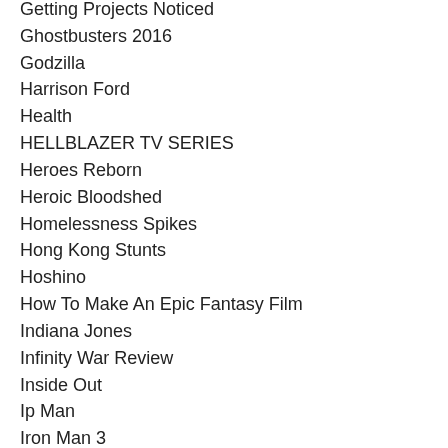Getting Projects Noticed
Ghostbusters 2016
Godzilla
Harrison Ford
Health
HELLBLAZER TV SERIES
Heroes Reborn
Heroic Bloodshed
Homelessness Spikes
Hong Kong Stunts
Hoshino
How To Make An Epic Fantasy Film
Indiana Jones
Infinity War Review
Inside Out
Ip Man
Iron Man 3
Ishida Khan
Is The High-Concept Action Film Dead?
Jackie Chan
Jackie & Donnie